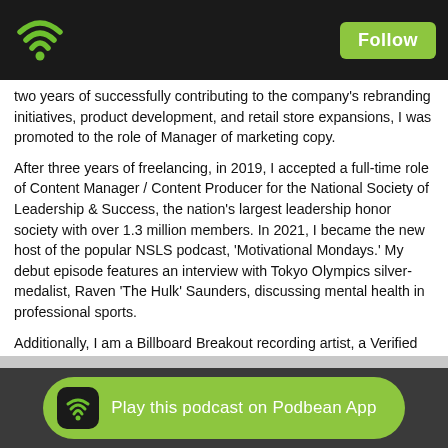Podbean app header with wifi logo and Follow button
two years of successfully contributing to the company's rebranding initiatives, product development, and retail store expansions, I was promoted to the role of Manager of marketing copy.
After three years of freelancing, in 2019, I accepted a full-time role of Content Manager / Content Producer for the National Society of Leadership & Success, the nation's largest leadership honor society with over 1.3 million members. In 2021, I became the new host of the popular NSLS podcast, 'Motivational Mondays.' My debut episode features an interview with Tokyo Olympics silver-medalist, Raven 'The Hulk' Saunders, discussing mental health in professional sports.
Additionally, I am a Billboard Breakout recording artist, a Verified artist on Spotify and I've been a Recording Academy member and Grammy voter since 2011.
Visit Corey online at linktr.ee/Coreyandrewmedia
Play this podcast on Podbean App